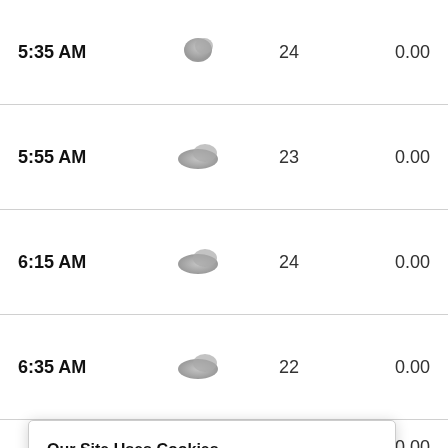| Time | Icon | Number | Value |
| --- | --- | --- | --- |
| 5:35 AM | [icon] | 24 | 0.00 |
| 5:55 AM | [icon] | 23 | 0.00 |
| 6:15 AM | [icon] | 24 | 0.00 |
| 6:35 AM | [icon] | 22 | 0.00 |
|  |  |  | 0.00 |
|  |  |  | 0.00 |
|  |  |  | 0.00 |
|  |  |  | 0.00 |
| 8:15 AM | [icon] | 22 | 0.00 |
Our Site Uses Cookies
We use cookies to improve your experience, which may also include cookies from third parties. By using our website, you agree to the use of cookies. Learn more in our privacy policy.
ACCEPT & CLOSE